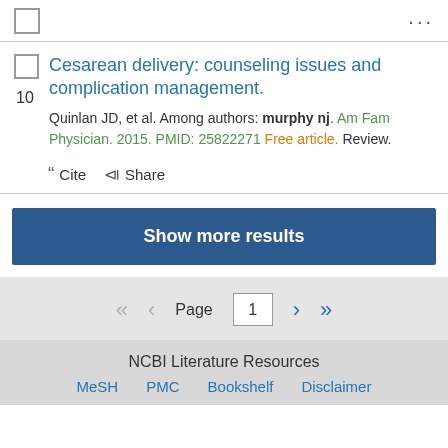Cesarean delivery: counseling issues and complication management. Quinlan JD, et al. Among authors: murphy nj. Am Fam Physician. 2015. PMID: 25822271 Free article. Review.
Cite  Share
Show more results
Page 1
NCBI Literature Resources MeSH PMC Bookshelf Disclaimer